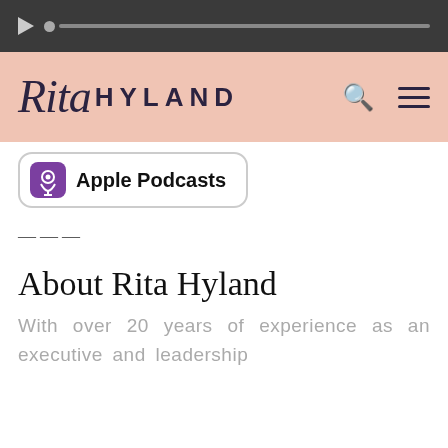[Figure (screenshot): Audio player bar with dark background, play button triangle, grey dot and grey progress bar]
[Figure (logo): Rita Hyland logo — cursive 'Rita' in dark navy italic script followed by 'HYLAND' in bold spaced sans-serif capitals, on a pink/salmon background with search and hamburger menu icons]
[Figure (screenshot): Apple Podcasts button with purple podcast icon and bold 'Apple Podcasts' label in a rounded rectangle border]
———
About Rita Hyland
With over 20 years of experience as an executive and leadership